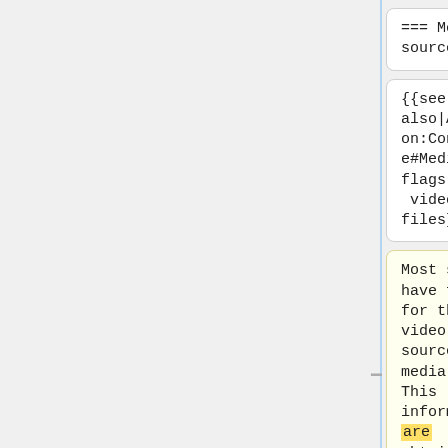=== Media source ===
=== Media source ===
{{see also|Add-on:Confluence#Media flags|Naming video files}}
{{see also|Add-on:Confluence#Media flags|Naming video files}}
Most skins have flags for the video source of a media file. This information are obtained from the
Most skins have flags for the video source of a media file. This information is obtained from the the